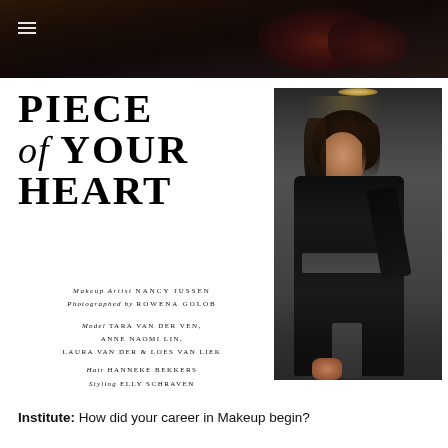[Figure (photo): Dark moody photo at top showing what appears to be dark fabric or flowers against a dim background]
PIECE of YOUR HEART
Makeup Artist NANCY JUSSEN
Photographed by ROWENA GOLOB
Model TARA VAN DER VEN, ANNE NAOMI LIN, LAURA VAN DER & LOES VAN LIEK
Hair HANNEKE BEKKERS
Styling ELLY SCHRAVEN
[Figure (photo): Fashion photo of a young woman with dark curly hair wearing a black cut-out dress, posed against a gray concrete wall with spotlight above]
Institute: How did your career in Makeup begin?